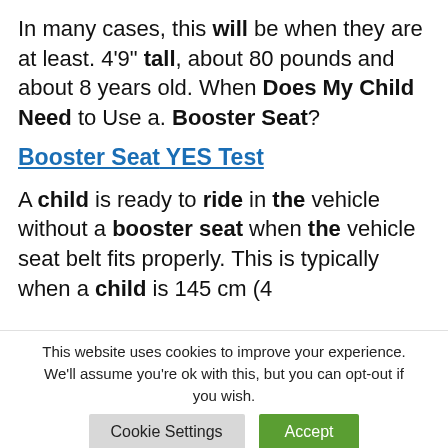In many cases, this will be when they are at least. 4'9" tall, about 80 pounds and about 8 years old. When Does My Child Need to Use a. Booster Seat?
Booster Seat YES Test
A child is ready to ride in the vehicle without a booster seat when the vehicle seat belt fits properly. This is typically when a child is 145 cm (4
This website uses cookies to improve your experience. We'll assume you're ok with this, but you can opt-out if you wish.